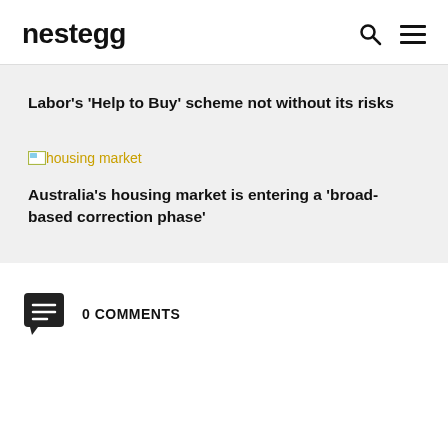nestegg
Labor's ‘Help to Buy’ scheme not without its risks
[Figure (photo): housing market image placeholder with broken image icon]
Australia's housing market is entering a ‘broad-based correction phase’
0 COMMENTS